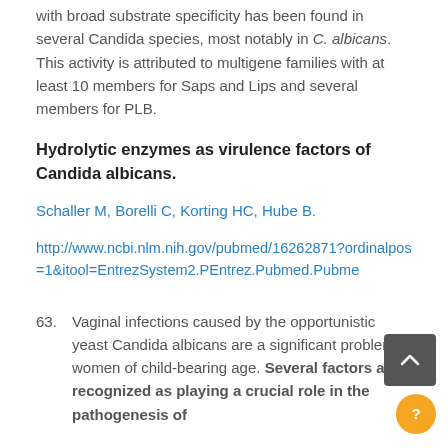with broad substrate specificity has been found in several Candida species, most notably in C. albicans. This activity is attributed to multigene families with at least 10 members for Saps and Lips and several members for PLB.
Hydrolytic enzymes as virulence factors of Candida albicans.
Schaller M, Borelli C, Korting HC, Hube B.
http://www.ncbi.nlm.nih.gov/pubmed/16262871?ordinalpos=1&itool=EntrezSystem2.PEntrez.Pubmed.Pubme
63. Vaginal infections caused by the opportunistic yeast Candida albicans are a significant problem in women of child-bearing age. Several factors are recognized as playing a crucial role in the pathogenesis of